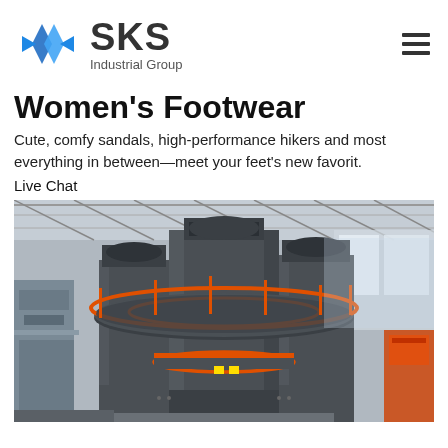SKS Industrial Group
Women's Footwear
Cute, comfy sandals, high-performance hikers and most everything in between—meet your feet's new favorit.
Live Chat
[Figure (photo): Industrial machinery in a factory setting — large vertical mill/crusher equipment painted dark grey with orange safety railings and structural platform, photographed inside a large industrial workshop.]